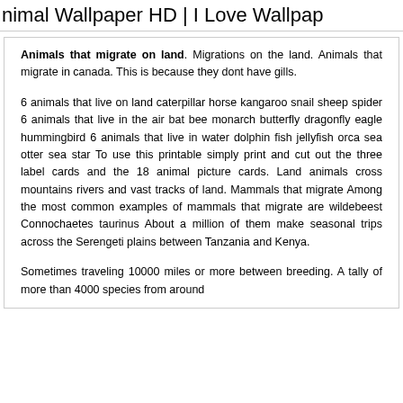Animal Wallpaper HD | I Love Wallpap
Animals that migrate on land. Migrations on the land. Animals that migrate in canada. This is because they dont have gills.
6 animals that live on land caterpillar horse kangaroo snail sheep spider 6 animals that live in the air bat bee monarch butterfly dragonfly eagle hummingbird 6 animals that live in water dolphin fish jellyfish orca sea otter sea star To use this printable simply print and cut out the three label cards and the 18 animal picture cards. Land animals cross mountains rivers and vast tracks of land. Mammals that migrate Among the most common examples of mammals that migrate are wildebeest Connochaetes taurinus About a million of them make seasonal trips across the Serengeti plains between Tanzania and Kenya.
Sometimes traveling 10000 miles or more between breeding. A tally of more than 4000 species from around